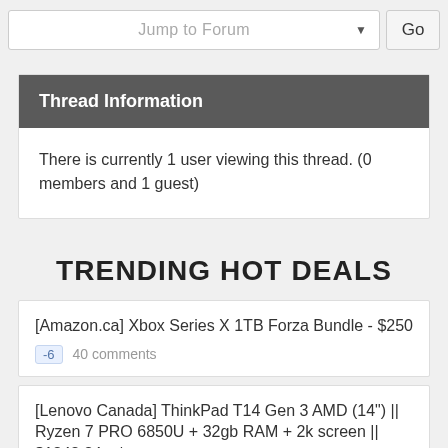[Figure (screenshot): Jump to Forum dropdown selector with Go button]
Thread Information
There is currently 1 user viewing this thread. (0 members and 1 guest)
TRENDING HOT DEALS
[Amazon.ca] Xbox Series X 1TB Forza Bundle - $250  -6  40 comments
[Lenovo Canada] ThinkPad T14 Gen 3 AMD (14") || Ryzen 7 PRO 6850U + 32gb RAM + 2k screen || $1343.34 w/